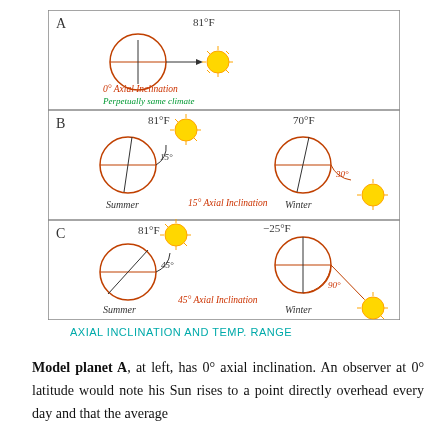[Figure (illustration): Three-panel diagram showing axial inclination of model planets A, B, and C with temperature readings. Panel A: 0° axial inclination, 81°F, perpetually same climate. Panel B: 15° axial inclination, 81°F summer and 70°F winter. Panel C: 45° axial inclination, 81°F summer and -25°F winter.]
AXIAL INCLINATION AND TEMP. RANGE
Model planet A, at left, has 0° axial inclination. An observer at 0° latitude would note his Sun rises to a point directly overhead every day and that the average